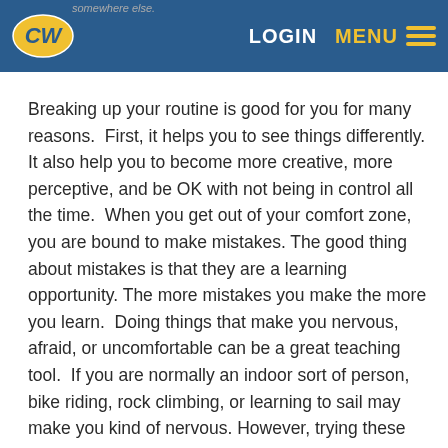LOGIN  MENU
Breaking up your routine is good for you for many reasons.  First, it helps you to see things differently. It also help you to become more creative, more perceptive, and be OK with not being in control all the time.  When you get out of your comfort zone, you are bound to make mistakes. The good thing about mistakes is that they are a learning opportunity. The more mistakes you make the more you learn.  Doing things that make you nervous, afraid, or uncomfortable can be a great teaching tool.  If you are normally an indoor sort of person, bike riding, rock climbing, or learning to sail may make you kind of nervous. However, trying these things exposes you to experiences that are new and exciting, and can teach you a lot about yourself.